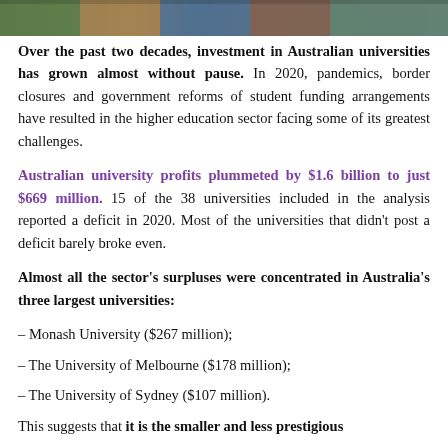[Figure (photo): Horizontal photo strip showing university/library scene with people and bookshelves]
Over the past two decades, investment in Australian universities has grown almost without pause. In 2020, pandemics, border closures and government reforms of student funding arrangements have resulted in the higher education sector facing some of its greatest challenges.
Australian university profits plummeted by $1.6 billion to just $669 million. 15 of the 38 universities included in the analysis reported a deficit in 2020. Most of the universities that didn't post a deficit barely broke even.
Almost all the sector's surpluses were concentrated in Australia's three largest universities:
– Monash University ($267 million);
– The University of Melbourne ($178 million);
– The University of Sydney ($107 million).
This suggests that it is the smaller and less prestigious